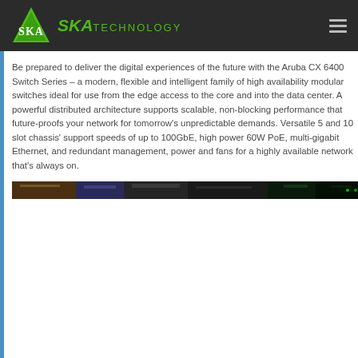SKA Technology
Be prepared to deliver the digital experiences of the future with the Aruba CX 6400 Switch Series – a modern, flexible and intelligent family of high availability modular switches ideal for use from the edge access to the core and into the data center. A powerful distributed architecture supports scalable, non-blocking performance that future-proofs your network for tomorrow's unpredictable demands. Versatile 5 and 10 slot chassis' support speeds of up to 100GbE, high power 60W PoE, multi-gigabit Ethernet, and redundant management, power and fans for a highly available network that's always on.
[Figure (photo): Photo of networking hardware/switch equipment, dark background showing rack-mounted switches]